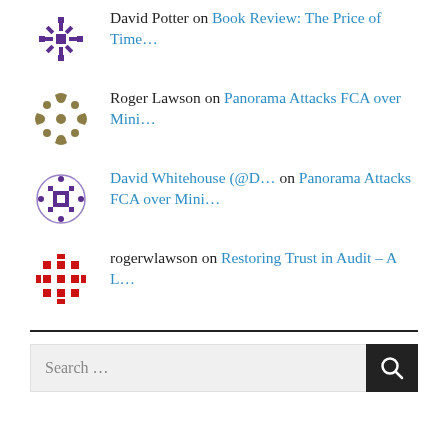David Potter on Book Review: The Price of Time…
Roger Lawson on Panorama Attacks FCA over Mini…
David Whitehouse (@D… on Panorama Attacks FCA over Mini…
rogerwlawson on Restoring Trust in Audit – A L…
Search …